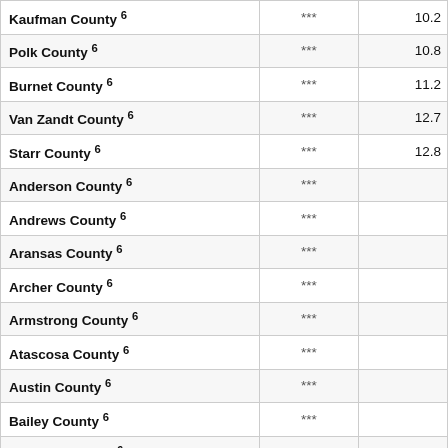| County |  |  |
| --- | --- | --- |
| Kaufman County 6 | *** | 10.2 |
| Polk County 6 | *** | 10.8 |
| Burnet County 6 | *** | 11.2 |
| Van Zandt County 6 | *** | 12.7 |
| Starr County 6 | *** | 12.8 |
| Anderson County 6 | *** |  |
| Andrews County 6 | *** |  |
| Aransas County 6 | *** |  |
| Archer County 6 | *** |  |
| Armstrong County 6 | *** |  |
| Atascosa County 6 | *** |  |
| Austin County 6 | *** |  |
| Bailey County 6 | *** |  |
| Bandera County 6 | *** |  |
| Bastrop County 6 | *** |  |
| Baylor County 6 | *** |  |
| Bee County 6 | *** |  |